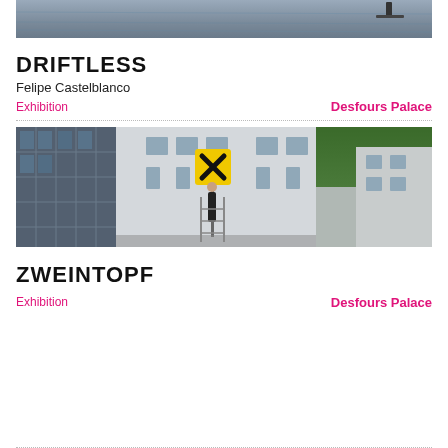[Figure (photo): Top portion of a photo showing a person on a paddleboard on calm water, cropped at the top of the page]
DRIFTLESS
Felipe Castelblanco
Exhibition                    Desfours Palace
[Figure (photo): Street scene showing a person on a ladder installing or adjusting a yellow Raiffeisen bank sign (X logo) between modern white buildings and trees]
ZWEINTOPF
Exhibition                    Desfours Palace